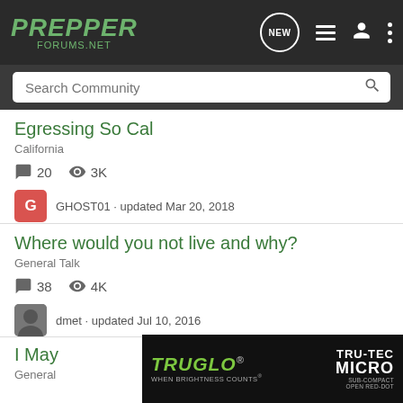PREPPER FORUMS.NET
Search Community
Egressing So Cal
California
20 replies · 3K views
GHOST01 · updated Mar 20, 2018
Where would you not live and why?
General Talk
38 replies · 4K views
dmet · updated Jul 10, 2016
I May
General
[Figure (advertisement): TRUGLO TRU-TEC MICRO advertisement banner. Green TRUGLO logo with tagline 'WHEN BRIGHTNESS COUNTS' and TRU-TEC MICRO sub-compact open red-dot product shown.]